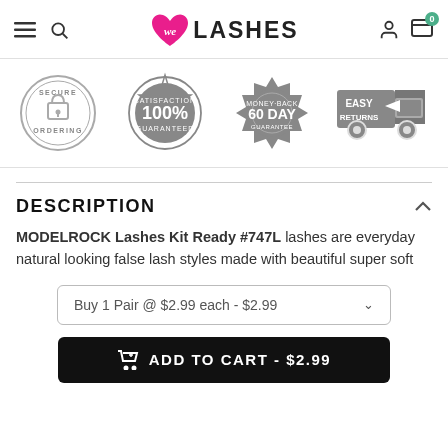We Love Lashes - navigation header with hamburger menu, search, logo, user icon, cart (0)
[Figure (infographic): Four trust badge icons: Secure Ordering (padlock circle), 100% Satisfaction Guaranteed (coin badge), 60 Day Money-Back Guarantee (stamp badge), Easy Returns (truck icon)]
DESCRIPTION
MODELROCK Lashes Kit Ready #747L lashes are everyday natural looking false lash styles made with beautiful super soft
Buy 1 Pair @ $2.99 each - $2.99
ADD TO CART - $2.99